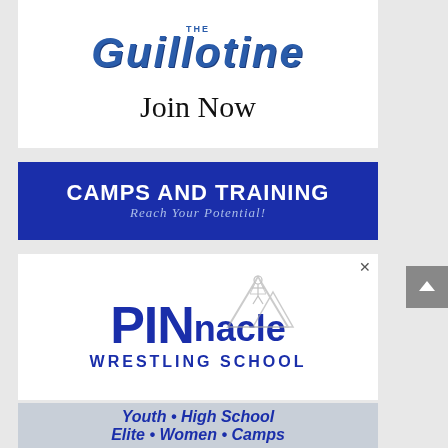[Figure (logo): The Guillotine logo in bold blue stylized text with 'Join Now' text below on white background]
[Figure (infographic): Camps and Training banner: dark blue background with white bold text 'CAMPS AND TRAINING' and lighter subtitle 'Reach Your Potential!']
[Figure (logo): Pinnacle Wrestling School advertisement with blue bold text 'PINnacle' and mountain graphic, subtitle 'WRESTLING SCHOOL']
[Figure (infographic): Light gray strip with bold italic blue text 'Youth • High School' and 'Elite • Women • Camps']